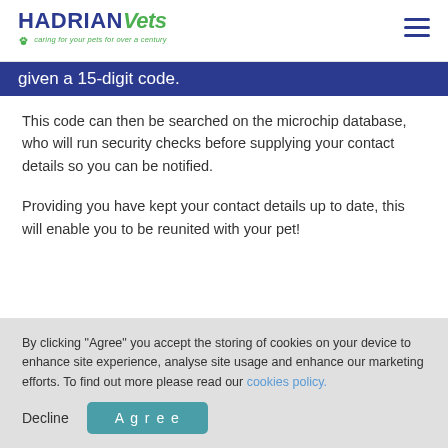HADRIAN Vets — caring for your pets for over a century
given a 15-digit code.
This code can then be searched on the microchip database, who will run security checks before supplying your contact details so you can be notified.
Providing you have kept your contact details up to date, this will enable you to be reunited with your pet!
By clicking "Agree" you accept the storing of cookies on your device to enhance site experience, analyse site usage and enhance our marketing efforts. To find out more please read our cookies policy.
Proud to be part of the VetPartners family